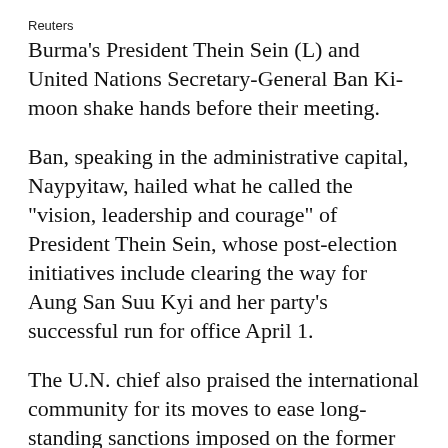Reuters
Burma's President Thein Sein (L) and United Nations Secretary-General Ban Ki-moon shake hands before their meeting.
Ban, speaking in the administrative capital, Naypyitaw, hailed what he called the "vision, leadership and courage" of President Thein Sein, whose post-election initiatives include clearing the way for Aung San Suu Kyi and her party's successful run for office April 1.
The U.N. chief also praised the international community for its moves to ease long-standing sanctions imposed on the former military regime, and called for foreign investment.
"I urge the international community to go even further in lifting, suspending or easing trade restrictions and other